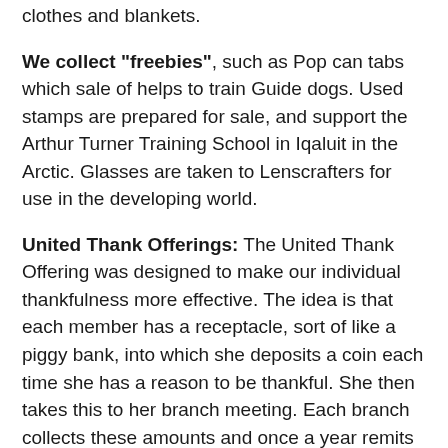clothes and blankets.
We collect "freebies", such as Pop can tabs which sale of helps to train Guide dogs. Used stamps are prepared for sale, and support the Arthur Turner Training School in Iqaluit in the Arctic. Glasses are taken to Lenscrafters for use in the developing world.
United Thank Offerings: The United Thank Offering was designed to make our individual thankfulness more effective. The idea is that each member has a receptacle, sort of like a piggy bank, into which she deposits a coin each time she has a reason to be thankful. She then takes this to her branch meeting. Each branch collects these amounts and once a year remits them to the Diocesan Board. This can add up to a tidy sum to which the Board adds the interest earned from the term